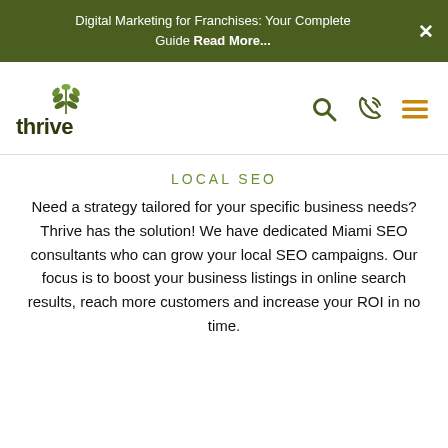Digital Marketing for Franchises: Your Complete Guide Read More...
[Figure (logo): Thrive Internet Marketing Agency logo with green leaf icon and 'thrive' wordmark]
LOCAL SEO
Need a strategy tailored for your specific business needs? Thrive has the solution! We have dedicated Miami SEO consultants who can grow your local SEO campaigns. Our focus is to boost your business listings in online search results, reach more customers and increase your ROI in no time.